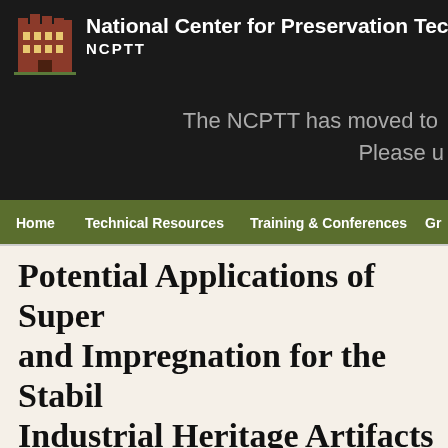[Figure (logo): NCPTT building logo icon — red brick building with towers]
National Center for Preservation Techno
The NCPTT has moved to...
Please u...
Home   Technical Resources   Training & Conferences   Gr
Potential Applications of Super and Impregnation for the Stabilization of Industrial Heritage Artifacts (20...
Rapid stabilization of ferrous metal artifacts
POSTED BY HEATHER LOCKWOOD ON APRIL 4, 2016 · IN ALL · GR